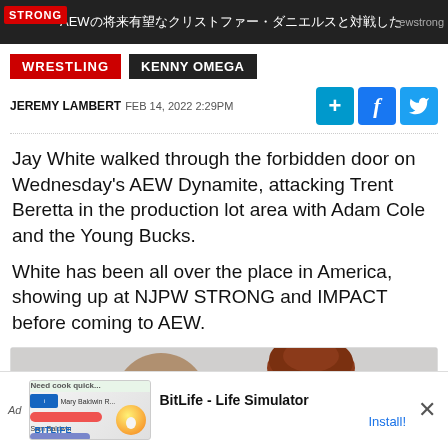AEWの将来有望なクリストファー・ダニエルスと対戦した
WRESTLING
KENNY OMEGA
JEREMY LAMBERT  FEB 14, 2022 2:29PM
Jay White walked through the forbidden door on Wednesday's AEW Dynamite, attacking Trent Beretta in the production lot area with Adam Cole and the Young Bucks.
White has been all over the place in America, showing up at NJPW STRONG and IMPACT before coming to AEW.
[Figure (photo): Two wrestlers photographed together, one wearing a black headband on the left, one with curly reddish-brown hair on the right, against a grey background.]
Ad  BitLife - Life Simulator  Install!